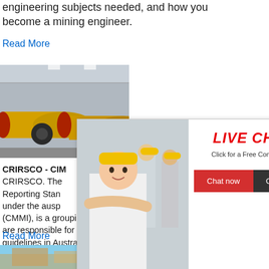engineering subjects needed, and how you become a mining engineer.
Read More
[Figure (photo): Industrial mining machinery — large yellow cylindrical ball mill equipment in a factory setting]
CRIRSCO - CIM
CRIRSCO. The Reporting Stan under the auspices of the Council of Mining Institutes (CMMI), is a grouping of representative organisations that are responsible for developing reporting codes and guidelines in Australasia (CBRR), Canada (CIM), Chile (National ...
Read More
[Figure (screenshot): Live chat popup overlay with a smiling woman in a white shirt and hard hat workers in background, showing LIVE CHAT title in red italic text, subtitle 'Click for a Free Consultation', and two buttons: 'Chat now' (red) and 'Chat later' (dark gray). A close button (X) is at top right.]
[Figure (screenshot): Right sidebar with blue background showing 'hour online', an image of a jaw crusher machine, a 'Click me to chat>>' button, a dashed divider, 'Enquiry' text in bold, another dashed divider, and 'limingjlmofen' text]
[Figure (photo): Bottom partial image of outdoor mining or construction equipment scene with blue sky]